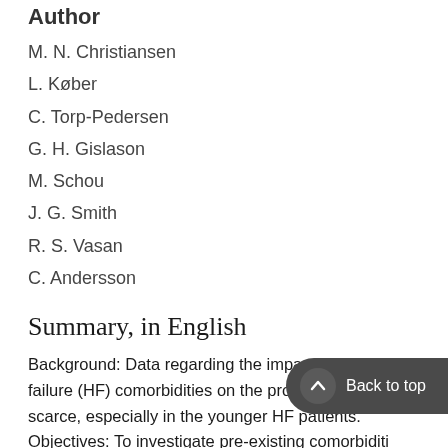Author
M. N. Christiansen
L. Køber
C. Torp-Pedersen
G. H. Gislason
M. Schou
J. G. Smith
R. S. Vasan
C. Andersson
Summary, in English
Background: Data regarding the impact of preheart failure (HF) comorbidities on the prognosis of HF are scarce, especially in the younger HF patients. Objectives: To investigate pre-existing comorbiditi… versus matched controls and to assess their impact on mortality. Methods: We included all first-time in-hospital